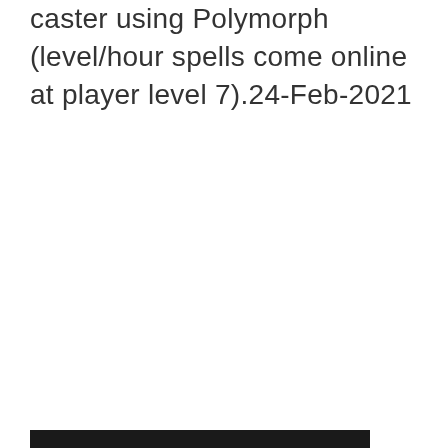caster using Polymorph (level/hour spells come online at player level 7).24-Feb-2021